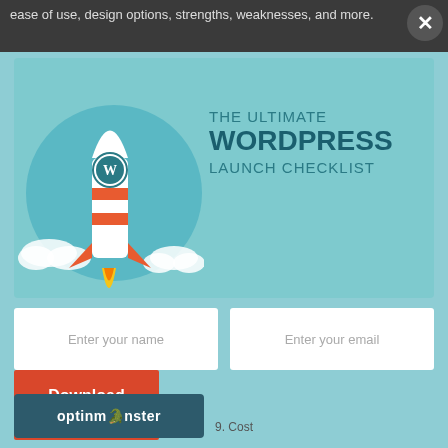ease of use, design options, strengths, weaknesses, and more.
[Figure (illustration): Popup modal with rocket illustration and 'THE ULTIMATE WORDPRESS LAUNCH CHECKLIST' text on teal background, with name/email input fields and Download Now button, and OptinMonster logo bar]
9. Cost